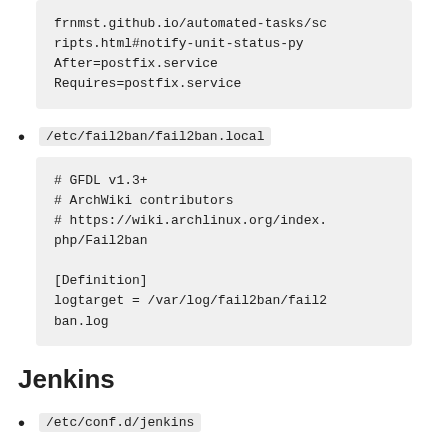frnmst.github.io/automated-tasks/scripts.html#notify-unit-status-py
After=postfix.service
Requires=postfix.service
/etc/fail2ban/fail2ban.local
# GFDL v1.3+
# ArchWiki contributors
# https://wiki.archlinux.org/index.php/Fail2ban

[Definition]
logtarget = /var/log/fail2ban/fail2ban.log
Jenkins
/etc/conf.d/jenkins